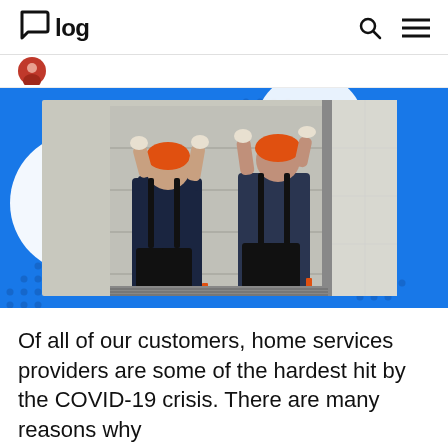Blog
[Figure (photo): Two workers wearing orange hard hats and dark work overalls installing a large garage or industrial door panel. Set against a blue decorative background with dot pattern and circular design element.]
Of all of our customers, home services providers are some of the hardest hit by the COVID-19 crisis. There are many reasons why...